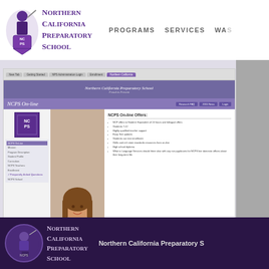[Figure (logo): Northern California Preparatory School logo with knight mascot and purple/white school name]
PROGRAMS   SERVICES   WA...
[Figure (screenshot): Screenshot of NCPS Online website showing the Northern California Preparatory School online program page with navigation menu, student photo, and program description]
NCPS offers online education as well.
Learn More
[Figure (logo): Northern California Preparatory School footer logo with knight mascot on dark purple background]
Northern California Preparatory S...